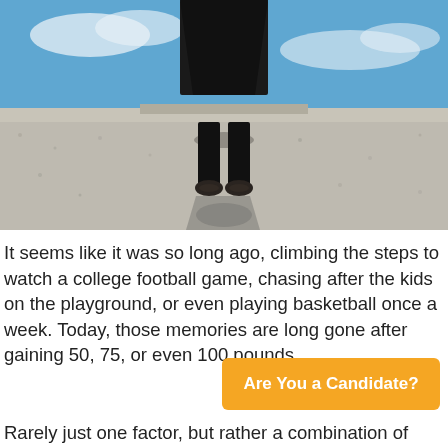[Figure (photo): A person standing on pavement viewed from above, their shadow and reflection visible. The upper portion shows a reflected blue sky with clouds in a puddle or reflective surface.]
It seems like it was so long ago, climbing the steps to watch a college football game, chasing after the kids on the playground, or even playing basketball once a week. Today, those memories are long gone after gaining 50, 75, or even 100 pounds.
Are You a Candidate?
Rarely just one factor, but rather a combination of things that